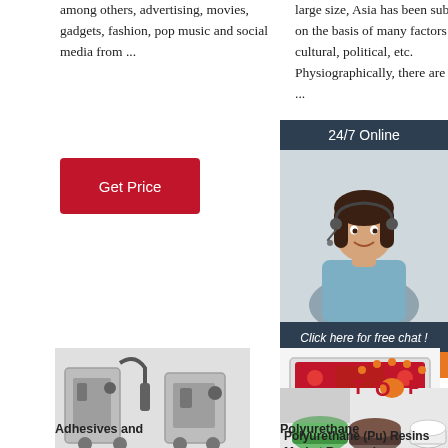among others, advertising, movies, gadgets, fashion, pop music and social media from ...
Get Price
large size, Asia has been subdivided on the basis of many factors including cultural, political, etc. Physiographically, there are five major ...
Get Price
[Figure (photo): 24/7 Online customer support banner with a woman wearing a headset, 'Click here for free chat!' text and QUOTATION button]
[Figure (photo): Industrial adhesive dispensing machine equipment]
[Figure (photo): Polyurethane dispensing/mixing machine in red]
[Figure (photo): Polyurethane resin samples in containers with TOP logo overlay]
Adhesives and
Polyurethane
Polyurethane (Pu) Resins Market Research